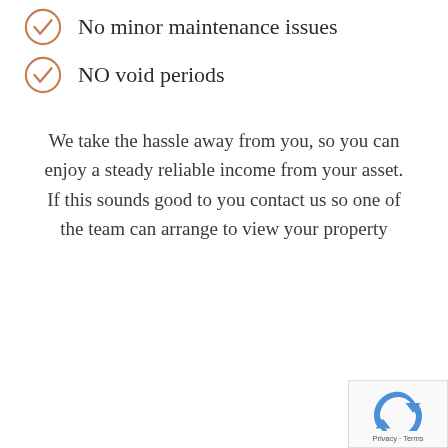No minor maintenance issues
NO void periods
We take the hassle away from you, so you can enjoy a steady reliable income from your asset. If this sounds good to you contact us so one of the team can arrange to view your property